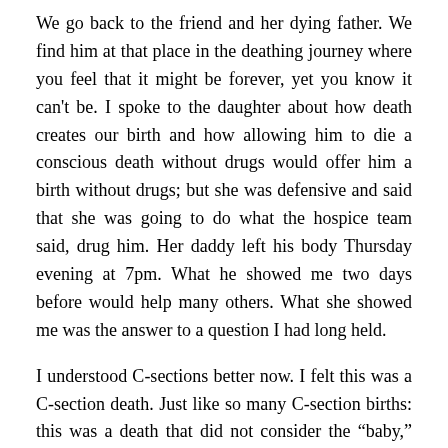We go back to the friend and her dying father. We find him at that place in the deathing journey where you feel that it might be forever, yet you know it can't be. I spoke to the daughter about how death creates our birth and how allowing him to die a conscious death without drugs would offer him a birth without drugs; but she was defensive and said that she was going to do what the hospice team said, drug him. Her daddy left his body Thursday evening at 7pm. What he showed me two days before would help many others. What she showed me was the answer to a question I had long held.
I understood C-sections better now. I felt this was a C-section death. Just like so many C-section births: this was a death that did not consider the “baby,” but more the caregiver’s needs. He did not need her pulling him back to comfort herself. He could have gone quite consciously had the caregiver not been in such fear, he did not need to wait for her schedule. Nor did he need